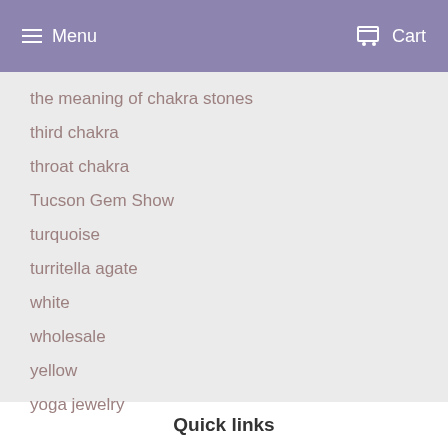Menu   Cart
the meaning of chakra stones
third chakra
throat chakra
Tucson Gem Show
turquoise
turritella agate
white
wholesale
yellow
yoga jewelry
Quick links